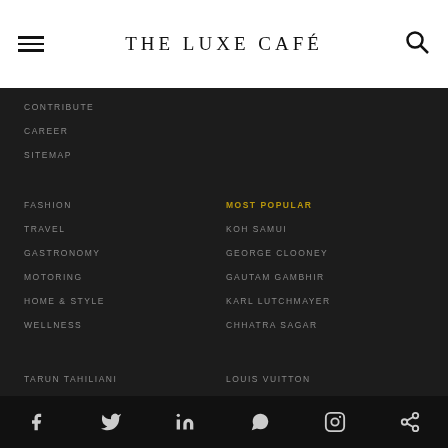THE LUXE CAFÉ
CONTRIBUTE
CAREER
SITEMAP
FASHION
TRAVEL
GASTRONOMY
MOTORING
HOME & STYLE
WELLNESS
MOST POPULAR
KOH SAMUI
GEORGE CLOONEY
GAUTAM GAMBHIR
KARL LUTCHMAYER
CHHATRA SAGAR
TARUN TAHILIANI
LOUIS VUITTON
SIOLIM HOUSE
LUXURIOUS KERALA
AUDLINDIA
MALAV SHROFF
Social icons: Facebook, Twitter, LinkedIn, WhatsApp, Instagram, Share